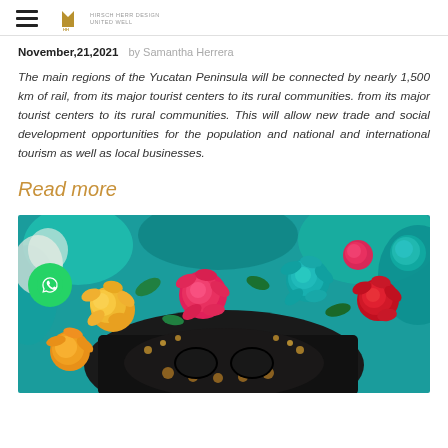HH [logo] [hamburger menu]
November,21,2021   by Samantha Herrera
The main regions of the Yucatan Peninsula will be connected by nearly 1,500 km of rail, from its major tourist centers to its rural communities. from its major tourist centers to its rural communities. This will allow new trade and social development opportunities for the population and national and international tourism as well as local businesses.
Read more
[Figure (photo): Colorful decorative flowers (roses in yellow, pink, teal, red) on what appears to be a decorated sugar skull or Day of the Dead altar piece. Green WhatsApp button overlay on lower left.]